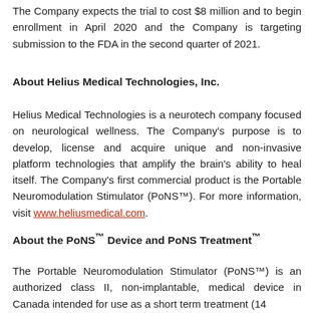The Company expects the trial to cost $8 million and to begin enrollment in April 2020 and the Company is targeting submission to the FDA in the second quarter of 2021.
About Helius Medical Technologies, Inc.
Helius Medical Technologies is a neurotech company focused on neurological wellness. The Company's purpose is to develop, license and acquire unique and non-invasive platform technologies that amplify the brain's ability to heal itself. The Company's first commercial product is the Portable Neuromodulation Stimulator (PoNS™). For more information, visit www.heliusmedical.com.
About the PoNS™ Device and PoNS Treatment™
The Portable Neuromodulation Stimulator (PoNS™) is an authorized class II, non-implantable, medical device in Canada intended for use as a short term treatment (14